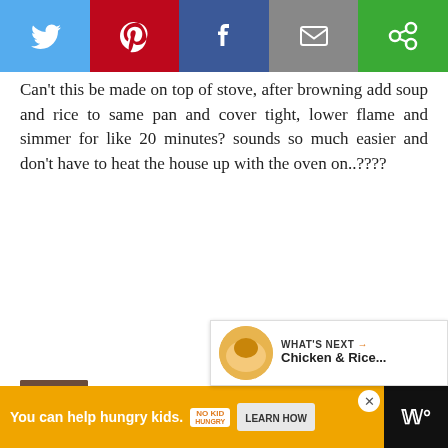[Figure (other): Social share bar with Twitter, Pinterest, Facebook, Email, and share buttons]
Can't this be made on top of stove, after browning add soup and rice to same pan and cover tight, lower flame and simmer for like 20 minutes? sounds so much easier and don't have to heat the house up with the oven on..????
Mandy Rivers   8/17/12, 8:34 PM   106
I suppose it could be made on the sto... but the chops won't be as tender as they would be slow baked. If yo... me know how it turns out!
[Figure (other): What's Next overlay with Chicken & Rice thumbnail]
[Figure (other): Advertisement bar: You can help hungry kids. No Kid Hungry. Learn How.]